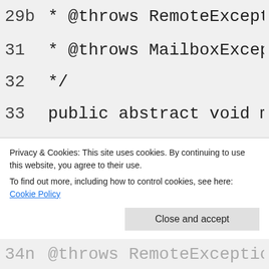29b * @throws RemoteException In case of
31  * @throws MailboxException Unrecovera
32  */
33  public abstract void markRead(Collect
33a     throws NullPointerException, Remo
33b public abstract void markRead(T heade
33c     throws NullPointerException, Remo
34a /**
34b * Mark the specified messages as unre
34c * messagesource, where supported,e.g.
Privacy & Cookies: This site uses cookies. By continuing to use this website, you agree to their use. To find out more, including how to control cookies, see here: Cookie Policy
34n     @throws RemoteException In case of